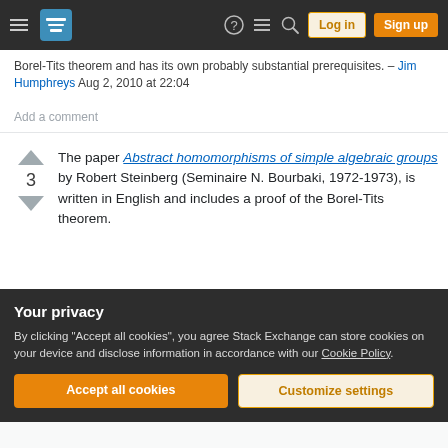Stack Exchange navigation bar with Log in and Sign up buttons
Borel-Tits theorem and has its own probably substantial prerequisites. – Jim Humphreys Aug 2, 2010 at 22:04
Add a comment
The paper Abstract homomorphisms of simple algebraic groups by Robert Steinberg (Seminaire N. Bourbaki, 1972-1973), is written in English and includes a proof of the Borel-Tits theorem.
Share   Cite   answered Aug 8, 2018 at 16:43
Your privacy
By clicking "Accept all cookies", you agree Stack Exchange can store cookies on your device and disclose information in accordance with our Cookie Policy.